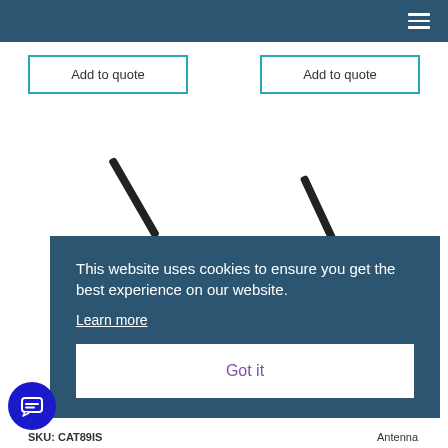Add to quote
Add to quote
[Figure (photo): Two black antenna products shown side by side on white background]
This website uses cookies to ensure you get the best experience on our website. Learn more
Got it
SKU: CAT89IS
Antenna